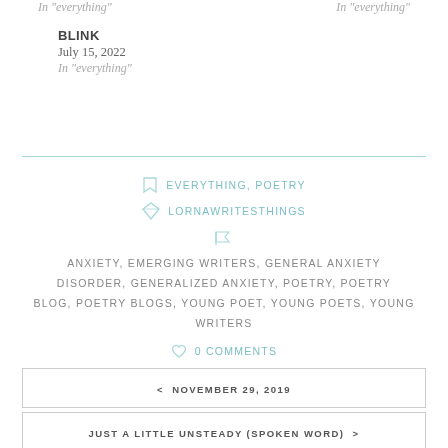In "everything"  In "everything"
BLINK
July 15, 2022
In "everything"
EVERYTHING, POETRY
LORNAWRITESTHINGS
ANXIETY, EMERGING WRITERS, GENERAL ANXIETY DISORDER, GENERALIZED ANXIETY, POETRY, POETRY BLOG, POETRY BLOGS, YOUNG POET, YOUNG POETS, YOUNG WRITERS
0 COMMENTS
< NOVEMBER 29, 2019
JUST A LITTLE UNSTEADY (SPOKEN WORD) >